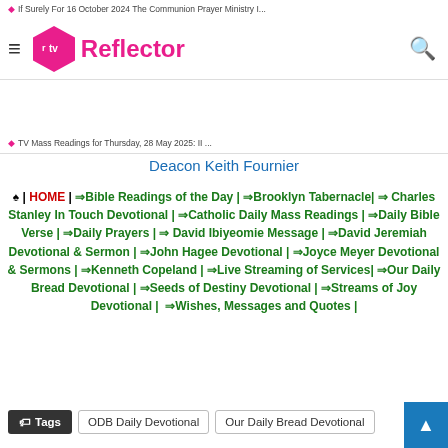≡ tv Reflector 🔍
If Surely For 16 October 2024 The Communion Prayer Ministry I...
TV Mass Readings for Thursday, 28 May 2025: II...
Deacon Keith Fournier
♠ | HOME | ⇒Bible Readings of the Day | ⇒Brooklyn Tabernacle| ⇒ Charles Stanley In Touch Devotional | ⇒Catholic Daily Mass Readings | ⇒Daily Bible Verse | ⇒Daily Prayers | ⇒ David Ibiyeomie Message | ⇒David Jeremiah Devotional & Sermon | ⇒John Hagee Devotional | ⇒Joyce Meyer Devotional & Sermons | ⇒Kenneth Copeland | ⇒Live Streaming of Services| ⇒Our Daily Bread Devotional | ⇒Seeds of Destiny Devotional | ⇒Streams of Joy Devotional | ⇒Wishes, Messages and Quotes |
Tags  ODB Daily Devotional  Our Daily Bread Devotional